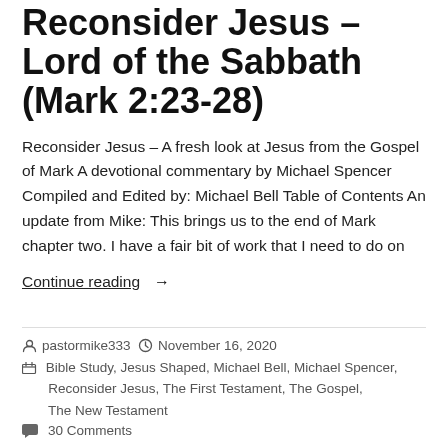Reconsider Jesus – Lord of the Sabbath (Mark 2:23-28)
Reconsider Jesus – A fresh look at Jesus from the Gospel of Mark A devotional commentary by Michael Spencer Compiled and Edited by: Michael Bell Table of Contents An update from Mike: This brings us to the end of Mark chapter two. I have a fair bit of work that I need to do on
Continue reading →
pastormike333   November 16, 2020
Bible Study, Jesus Shaped, Michael Bell, Michael Spencer, Reconsider Jesus, The First Testament, The Gospel, The New Testament
30 Comments